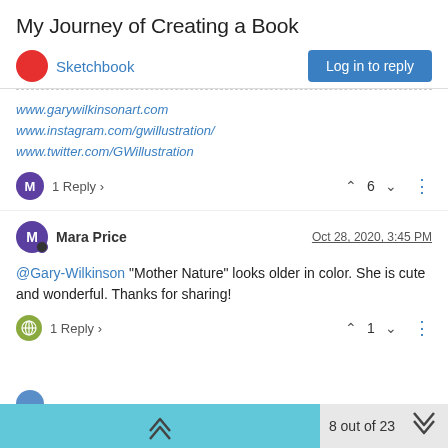My Journey of Creating a Book
Sketchbook
www.garywilkinsonart.com
www.instagram.com/gwillustration/
www.twitter.com/GWillustration
1 Reply  6
Mara Price  Oct 28, 2020, 3:45 PM
@Gary-Wilkinson "Mother Nature" looks older in color. She is cute and wonderful. Thanks for sharing!
1 Reply  1
8 out of 23